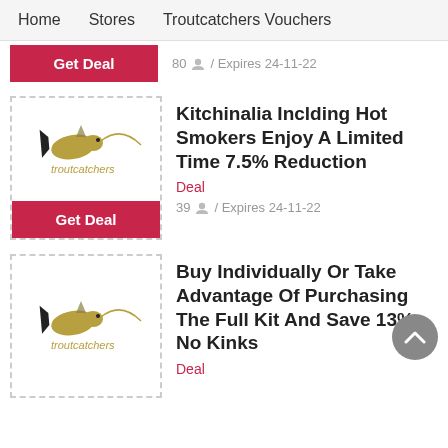Home   Stores   Troutcatchers Vouchers
Get Deal
80 / Expires 24-11-22
[Figure (logo): Troutcatchers logo with fish and brand name]
Get Deal
Kitchinalia Inclding Hot Smokers Enjoy A Limited Time 7.5% Reduction
Deal
39 / Expires 24-11-22
[Figure (logo): Troutcatchers logo with fish and brand name]
Buy Individually Or Take Advantage Of Purchasing The Full Kit And Save 13% No Kinks
Deal